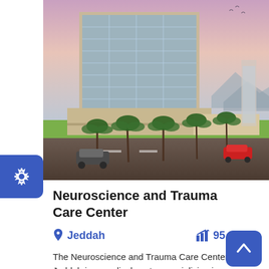[Figure (photo): Architectural rendering of a modern multi-story hospital building with glass facade, surrounded by palm trees and a road with cars, set against a dusk sky.]
Neuroscience and Trauma Care Center
Jeddah   95.30%
The Neuroscience and Trauma Care Center in Jeddah is a medical center specializing in